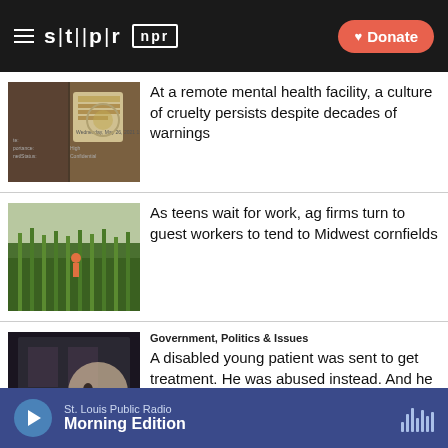STLPR NPR — Donate
[Figure (photo): Thumbnail of a building with a government seal document overlay]
At a remote mental health facility, a culture of cruelty persists despite decades of warnings
[Figure (photo): People working in a cornfield]
As teens wait for work, ag firms turn to guest workers to tend to Midwest cornfields
Government, Politics & Issues
[Figure (photo): A dark building exterior with a handwritten note overlay]
A disabled young patient was sent to get treatment. He was abused instead. And he wasn't the last.
St. Louis Public Radio — Morning Edition